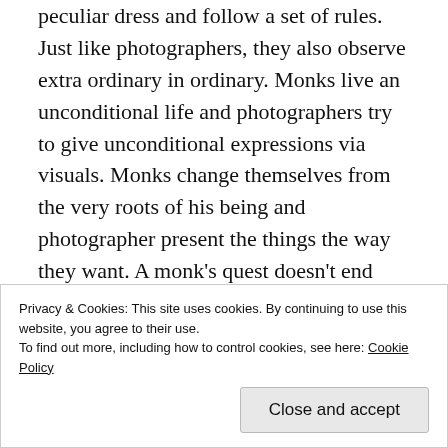peculiar dress and follow a set of rules. Just like photographers, they also observe extra ordinary in ordinary. Monks live an unconditional life and photographers try to give unconditional expressions via visuals. Monks change themselves from the very roots of his being and photographer present the things the way they want. A monk’s quest doesn’t end and a true photographer never gets tired of being hermit and rootless wandering habit to get her subject right. A monk gets peace when with God and a photographer gets solace with her gadgets which isn’t necessarily hi-fi. But just like having proper knowledge will lead a monk
Privacy & Cookies: This site uses cookies. By continuing to use this website, you agree to their use.
To find out more, including how to control cookies, see here: Cookie Policy
Close and accept